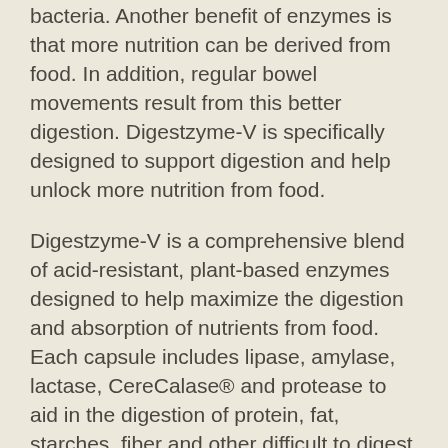bacteria. Another benefit of enzymes is that more nutrition can be derived from food. In addition, regular bowel movements result from this better digestion. Digestzyme-V is specifically designed to support digestion and help unlock more nutrition from food.
Digestzyme-V is a comprehensive blend of acid-resistant, plant-based enzymes designed to help maximize the digestion and absorption of nutrients from food. Each capsule includes lipase, amylase, lactase, CereCalase® and protease to aid in the digestion of protein, fat, starches, fiber and other difficult to digest foods known to cause food sensitivities. CereCalase®, a special blend of hemicellulase, beta-glucanase and phytase, is specially formulated to digest the cell walls of plants, providing better nutrition from a plant-based diet. Digestzyme-V also includes Gentian root, a traditional bitter herb, and artichoke, a natural